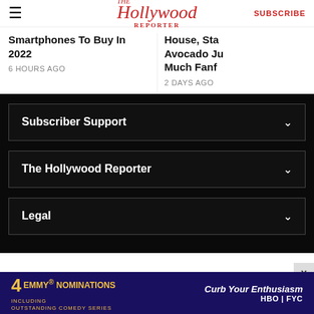The Hollywood Reporter | SUBSCRIBE
Smartphones To Buy In 2022
6 HOURS AGO
House, Sta Avocado Ju Much Fanf
2 DAYS AGO
Subscriber Support
The Hollywood Reporter
Legal
[Figure (infographic): Advertisement banner: 4 Emmy Nominations including Outstanding Comedy Series - Curb Your Enthusiasm, HBO FYC]